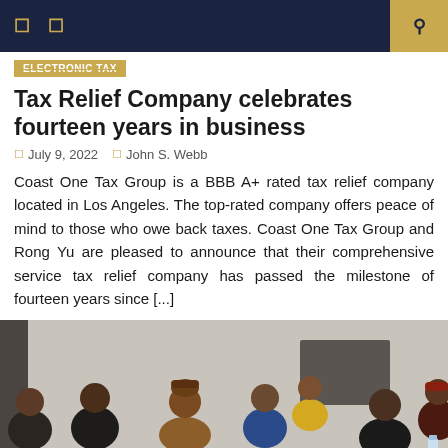Electronic Tax
Electronic Tax
Tax Relief Company celebrates fourteen years in business
July 9, 2022   John S. Webb
Coast One Tax Group is a BBB A+ rated tax relief company located in Los Angeles. The top-rated company offers peace of mind to those who owe back taxes. Coast One Tax Group and Rong Yu are pleased to announce that their comprehensive service tax relief company has passed the milestone of fourteen years since [...]
[Figure (photo): A group of people seated at a meeting table in a conference room setting, with several individuals visible including some wearing traditional African attire. One person wears a brown embroidered cap.]